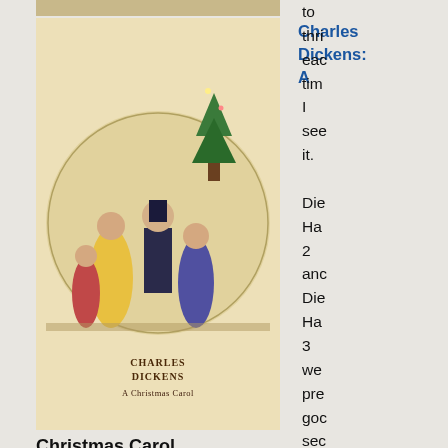[Figure (illustration): Book cover of A Christmas Carol by Charles Dickens, showing a Victorian scene with people gathered around]
Charles Dickens: A
Christmas Carol
to thri eac tim I see it. Die Ha 2 anc Die Ha 3 we pre goc sec but not is as
[Figure (illustration): Book cover of Winter Solstice by Rosamunde Pilcher, showing an autumn/winter nature scene with a path]
Rosamunde Pilcher: Winter Solstice
James